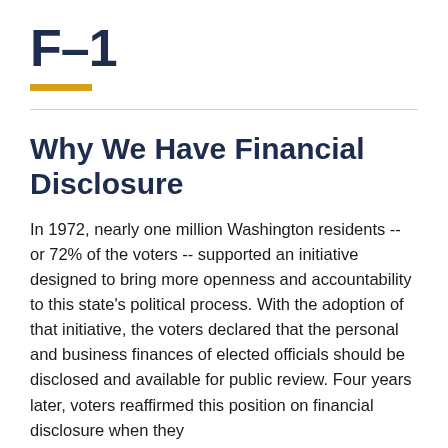F-1
Why We Have Financial Disclosure
In 1972, nearly one million Washington residents -- or 72% of the voters -- supported an initiative designed to bring more openness and accountability to this state's political process. With the adoption of that initiative, the voters declared that the personal and business finances of elected officials should be disclosed and available for public review. Four years later, voters reaffirmed this position on financial disclosure when they